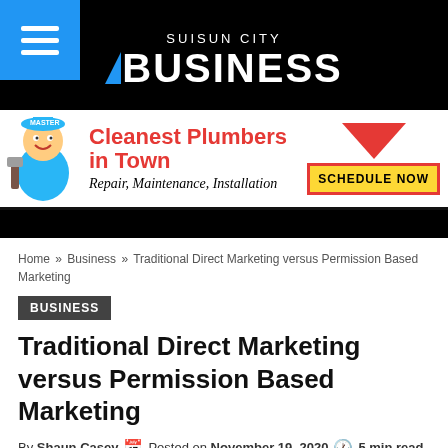Suisun City BUSINESS
[Figure (illustration): Advertisement banner: Cleanest Plumbers in Town - Repair, Maintenance, Installation - SCHEDULE NOW]
Home » Business » Traditional Direct Marketing versus Permission Based Marketing
BUSINESS
Traditional Direct Marketing versus Permission Based Marketing
By Shaun Casey   Posted on November 19, 2020   5 min read   Comments Off   0   220
When Seth Godin, acclaimed author of “Permission Marketing”